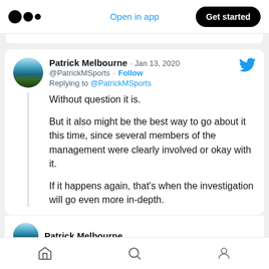Medium logo | Open in app | Get started
[Figure (screenshot): Tweet from Patrick Melbourne (@PatrickMSports) dated Jan 13, 2020. Replying to @PatrickMSports. Text: 'Without question it is.

But it also might be the best way to go about it this time, since several members of the management were clearly involved or okay with it.

If it happens again, that's when the investigation will go even more in-depth.']
Without question it is.
But it also might be the best way to go about it this time, since several members of the management were clearly involved or okay with it.
If it happens again, that's when the investigation will go even more in-depth.
Home | Search | Profile